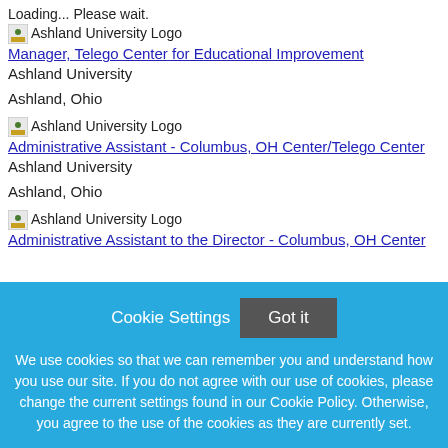Loading... Please wait.
[Figure (logo): Ashland University Logo]
Manager, Telego Center for Educational Improvement
Ashland University
Ashland, Ohio
[Figure (logo): Ashland University Logo]
Administrative Assistant - Columbus, OH Center/Telego Center
Ashland University
Ashland, Ohio
[Figure (logo): Ashland University Logo]
Administrative Assistant to the Director - Columbus, OH Center
Cookie Settings  Got it  We use cookies so that we can remember you and understand how you use our site. If you do not agree with our use of cookies, please change the current settings found in our Cookie Policy. Otherwise, you agree to the use of the cookies as they are currently set.